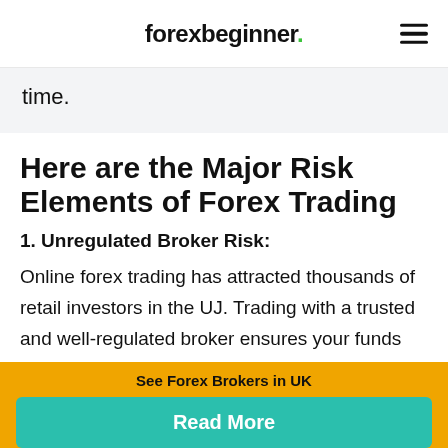forexbeginner.
time.
Here are the Major Risk Elements of Forex Trading
1. Unregulated Broker Risk:
Online forex trading has attracted thousands of retail investors in the UJ. Trading with a trusted and well-regulated broker ensures your funds
See Forex Brokers in UK
Read More